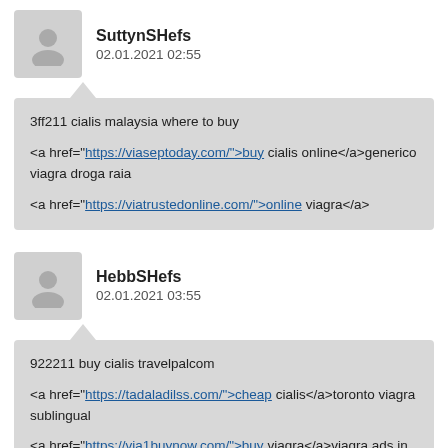SuttynSHefs
02.01.2021 02:55
3ff211 cialis malaysia where to buy
<a href="https://viaseptoday.com/">buy cialis online</a>generico viagra droga raia
<a href="https://viatrustedonline.com/">online viagra</a>
HebbSHefs
02.01.2021 03:55
922211 buy cialis travelpalcom
<a href="https://tadaladilss.com/">cheap cialis</a>toronto viagra sublingual
<a href="https://via1buynow.com/">buy viagra</a>viagra ads in usa today